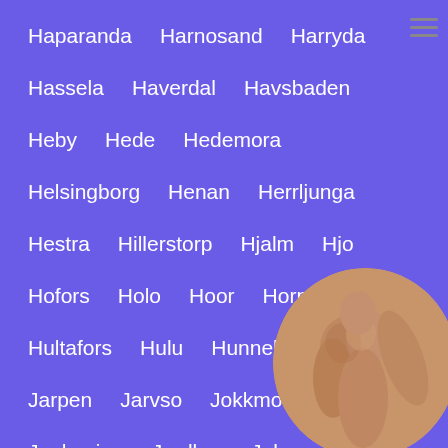Haparanda
Harnosand
Harryda
Hassela
Haverdal
Havsbaden
Heby
Hede
Hedemora
Helsingborg
Henan
Herrljunga
Hestra
Hillerstorp
Hjalm
Hjo
Hofors
Holo
Hoor
Horn
Hova
Hultafors
Hulu
Hunnebostrand
Jarpen
Jarvso
Jokkmokk
Jonkoping
Jordbro
Juk
Jung
Jungfrusund
Junsele
Kallax
Kalmar
Karlshamn
[Figure (photo): Circular cropped photo in bottom-right corner showing a person]